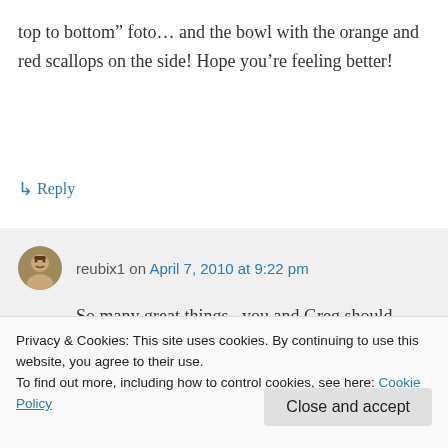top to bottom” foto… and the bowl with the orange and red scallops on the side! Hope you’re feeling better!
↳ Reply
reubix1 on April 7, 2010 at 9:22 pm
So many great things.. you and Greg should pack up the kids and go down there, it’s really fun
Privacy & Cookies: This site uses cookies. By continuing to use this website, you agree to their use.
To find out more, including how to control cookies, see here: Cookie Policy